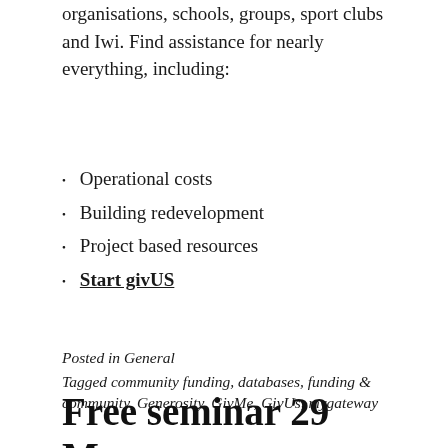organisations, schools, groups, sport clubs and Iwi. Find assistance for nearly everything, including:
Operational costs
Building redevelopment
Project based resources
Start givUS
Posted in General
Tagged community funding, databases, funding & community, Generosity, GivMe, GivUs, mygateway
Free seminar 29 May: Fundview community